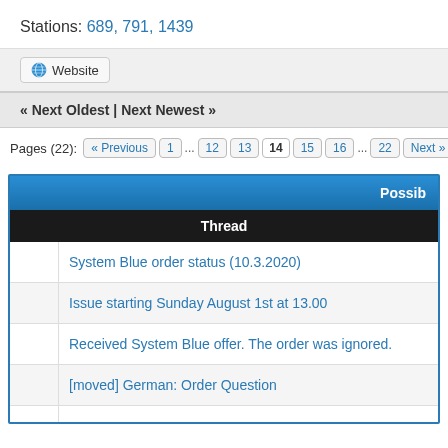Stations: 689, 791, 1439
Website
« Next Oldest | Next Newest »
Pages (22): « Previous 1 … 12 13 14 15 16 … 22 Next »
| Thread |
| --- |
| System Blue order status (10.3.2020) |
| Issue starting Sunday August 1st at 13.00 |
| Received System Blue offer. The order was ignored. |
| [moved] German: Order Question |
|  |